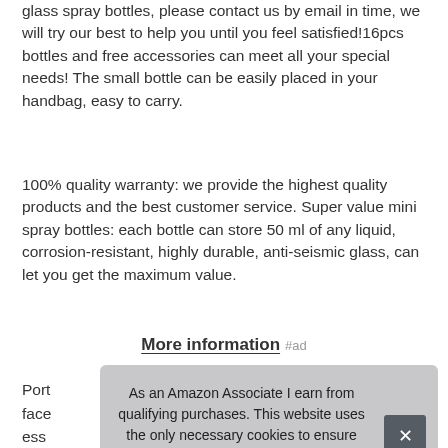glass spray bottles, please contact us by email in time, we will try our best to help you until you feel satisfied!16pcs bottles and free accessories can meet all your special needs! The small bottle can be easily placed in your handbag, easy to carry.
100% quality warranty: we provide the highest quality products and the best customer service. Super value mini spray bottles: each bottle can store 50 ml of any liquid, corrosion-resistant, highly durable, anti-seismic glass, can let you get the maximum value.
More information #ad
Port face ess fres
As an Amazon Associate I earn from qualifying purchases. This website uses the only necessary cookies to ensure you get the best experience on our website. More information